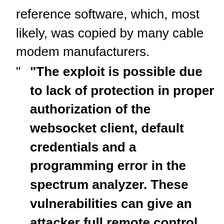reference software, which, most likely, was copied by many cable modem manufacturers.
“ “The exploit is possible due to lack of protection in proper authorization of the websocket client, default credentials and a programming error in the spectrum analyzer. These vulnerabilities can give an attacker full remote control over the entire unit, and all the traffic that flows through it, while being invisible for both the user and ISP and able to ignore remote system updates”, — write Lyrebirds ApS researchers.